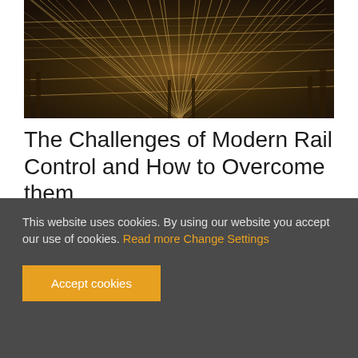[Figure (photo): Aerial/overhead view of complex railway track network at night or dusk, showing many intersecting rails converging and diverging, illuminated with warm orange tones.]
The Challenges of Modern Rail Control and How to Overcome them
Infrastructure managers (IM) that tender and purchase new rail control and signaling systems, seek to have the new systems delivered on time and with correct functionality at first installation.
This website uses cookies. By using our website you accept our use of cookies. Read more Change Settings
Accept cookies